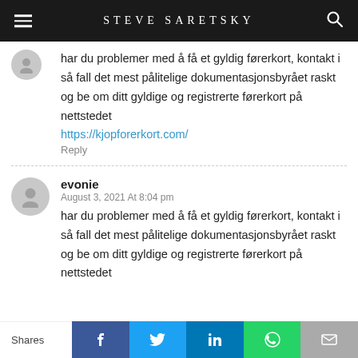STEVE SARETSKY
har du problemer med å få et gyldig førerkort, kontakt i så fall det mest pålitelige dokumentasjonsbyrået raskt og be om ditt gyldige og registrerte førerkort på nettstedet https://kjopforerkort.com/
Reply
evonie
August 3, 2021 At 8:04 pm
har du problemer med å få et gyldig førerkort, kontakt i så fall det mest pålitelige dokumentasjonsbyrået raskt og be om ditt gyldige og registrerte førerkort på nettstedet
Shares